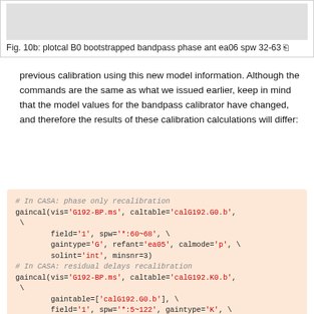Fig. 10b: plotcal B0 bootstrapped bandpass phase ant ea06 spw 32-63
previous calibration using this new model information. Although the commands are the same as what we issued earlier, keep in mind that the model values for the bandpass calibrator have changed, and therefore the results of these calibration calculations will differ:
# In CASA: phase only recalibration
gaincal(vis='G192-BP.ms', caltable='calG192.G0.b', \
        field='1', spw='*:60~68', \
        gaintype='G', refant='ea05', calmode='p', \
        solint='int', minsnr=3)
# In CASA: residual delays recalibration
gaincal(vis='G192-BP.ms', caltable='calG192.K0.b', \
        gaintable=['calG192.G0.b'], \
        field='1', spw='*:5~122', gaintype='K', \
        refant='ea05', solint='inf', minsnr=3)
# In CASA: antenna bandpasses recalibration
bandpass(vis='G192-BP.ms', caltable='calG192.B0.b', \
        gaintable=['calG192.G0.b', 'calG192.K0.b'], \
        field='1', refant='ea05', solnorm=False, \
        bandtype='B', solint='inf')